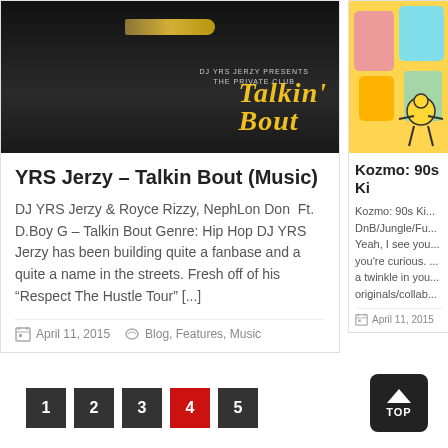[Figure (photo): Black and white photo of lips with gold grills biting a bullet, with 'DJ YRS Jerzy Presents The Private Club Talkin Bout' text overlay in yellow]
YRS Jerzy – Talkin Bout (Music)
DJ YRS Jerzy & Royce Rizzy, NephLon Don  Ft. D.Boy G – Talkin Bout Genre: Hip Hop DJ YRS Jerzy has been building quite a fanbase and a quite a name in the streets. Fresh off of his “Respect The Hustle Tour” [...]
April 11, 2015   Blog, Features, Music
[Figure (illustration): Colorful 90s-style illustration with yellow game controllers, phones and cartoon character]
Kozmo: 90s Ki
Kozmo: 90s Ki... DnB/Jungle/Fu... Yeah, I see you... you're curious. ... a twinkle in you... originals/collab...
April 11, 2015
1
2
3
4
5